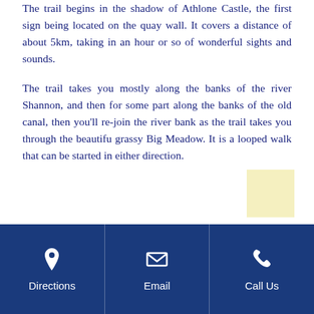The trail begins in the shadow of Athlone Castle, the first sign being located on the quay wall. It covers a distance of about 5km, taking in an hour or so of wonderful sights and sounds.
The trail takes you mostly along the banks of the river Shannon, and then for some part along the banks of the old canal, then you'll re-join the river bank as the trail takes you through the beautifu grassy Big Meadow. It is a looped walk that can be started in either direction.
Directions | Email | Call Us